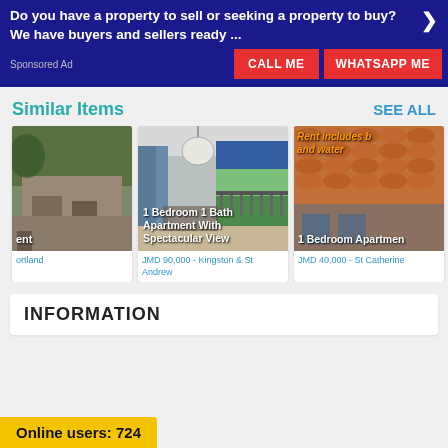Do you have a property to sell or seeking a property to buy? We have buyers and sellers ready ...
Sponsored Ad
CALL ME
WHATSAPP ME
Similar Items
SEE ALL
[Figure (photo): Partial view of a building/property - Portland]
ortland
[Figure (photo): 1 Bedroom 1 Bath Apartment With Spectacular View - interior with balcony]
1 Bedroom 1 Bath Apartment With Spectacular View
JMD 90,000 - Kingston & St Andrew
[Figure (photo): 1 Bedroom Apartment - roof tiles visible, rent includes utilities and water]
Rent includes b... and water
1 Bedroom Apartmen...
JMD 40,000 - St Catherine
INFORMATION
Online users: 724